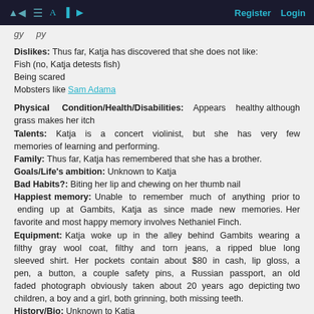Register   Login
gy py
Dislikes: Thus far, Katja has discovered that she does not like:
Fish (no, Katja detests fish)
Being scared
Mobsters like Sam Adama
Physical Condition/Health/Disabilities: Appears healthy although grass makes her itch
Talents: Katja is a concert violinist, but she has very few memories of learning and performing.
Family: Thus far, Katja has remembered that she has a brother.
Goals/Life's ambition: Unknown to Katja
Bad Habits?: Biting her lip and chewing on her thumb nail
Happiest memory: Unable to remember much of anything prior to ending up at Gambits, Katja as since made new memories. Her favorite and most happy memory involves Nethaniel Finch.
Equipment: Katja woke up in the alley behind Gambits wearing a filthy gray wool coat, filthy and torn jeans, a ripped blue long sleeved shirt. Her pockets contain about $80 in cash, lip gloss, a pen, a button, a couple safety pins, a Russian passport, an old faded photograph obviously taken about 20 years ago depicting two children, a boy and a girl, both grinning, both missing teeth.
History/Bio: Unknown to Katja